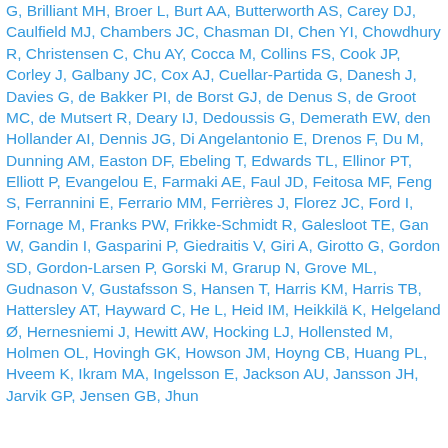G, Brilliant MH, Broer L, Burt AA, Butterworth AS, Carey DJ, Caulfield MJ, Chambers JC, Chasman DI, Chen YI, Chowdhury R, Christensen C, Chu AY, Cocca M, Collins FS, Cook JP, Corley J, Galbany JC, Cox AJ, Cuellar-Partida G, Danesh J, Davies G, de Bakker PI, de Borst GJ, de Denus S, de Groot MC, de Mutsert R, Deary IJ, Dedoussis G, Demerath EW, den Hollander AI, Dennis JG, Di Angelantonio E, Drenos F, Du M, Dunning AM, Easton DF, Ebeling T, Edwards TL, Ellinor PT, Elliott P, Evangelou E, Farmaki AE, Faul JD, Feitosa MF, Feng S, Ferrannini E, Ferrario MM, Ferrières J, Florez JC, Ford I, Fornage M, Franks PW, Frikke-Schmidt R, Galesloot TE, Gan W, Gandin I, Gasparini P, Giedraitis V, Giri A, Girotto G, Gordon SD, Gordon-Larsen P, Gorski M, Grarup N, Grove ML, Gudnason V, Gustafsson S, Hansen T, Harris KM, Harris TB, Hattersley AT, Hayward C, He L, Heid IM, Heikkilä K, Helgeland Ø, Hernesniemi J, Hewitt AW, Hocking LJ, Hollensted M, Holmen OL, Hovingh GK, Howson JM, Hoyng CB, Huang PL, Hveem K, Ikram MA, Ingelsson E, Jackson AU, Jansson JH, Jarvik GP, Jensen GB, Jhun